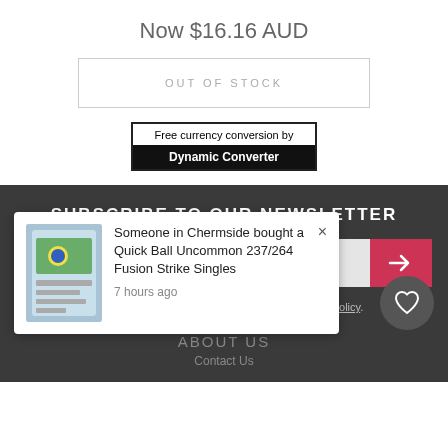Now $16.16 AUD
OUT OF STOCK
[Figure (other): Free currency conversion by Dynamic Converter badge]
SUBSCRIBE TO OUR NEWSLETTER
Email Address
I have read and agree to Terms & Conditions and Privacy Policy.
[Figure (other): Purchase notification popup: Someone in Chermside bought a Quick Ball Uncommon 237/264 Fusion Strike Singles, 7 hours ago]
ABOUT US
Contact Us